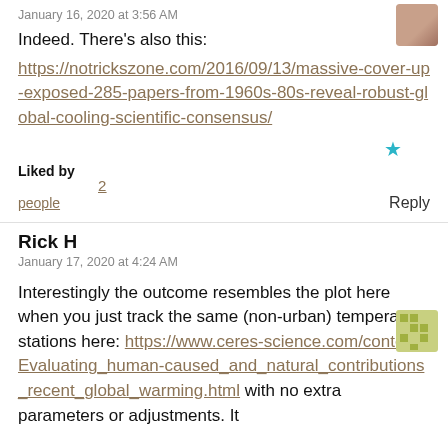January 16, 2020 at 3:56 AM
Indeed. There's also this:
https://notrickszone.com/2016/09/13/massive-cover-up-exposed-285-papers-from-1960s-80s-reveal-robust-global-cooling-scientific-consensus/
Liked by
2
people
Reply
Rick H
January 17, 2020 at 4:24 AM
Interestingly the outcome resembles the plot here when you just track the same (non-urban) temperature stations here: https://www.ceres-science.com/content/Evaluating_human-caused_and_natural_contributions_recent_global_warming.html with no extra parameters or adjustments. It